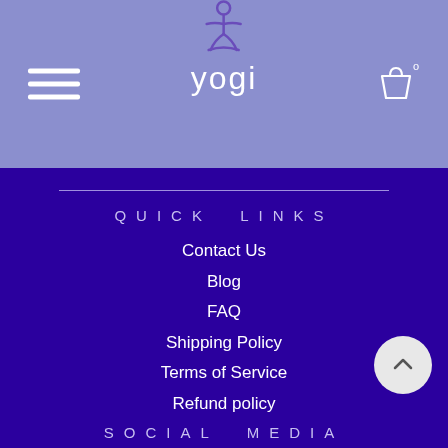[Figure (logo): Yogi brand logo with yoga figure icon and text 'yogi' on a periwinkle/lavender purple header background, with hamburger menu icon on left and shopping bag icon on right]
QUICK LINKS
Contact Us
Blog
FAQ
Shipping Policy
Terms of Service
Refund policy
SOCIAL MEDIA
Facebook